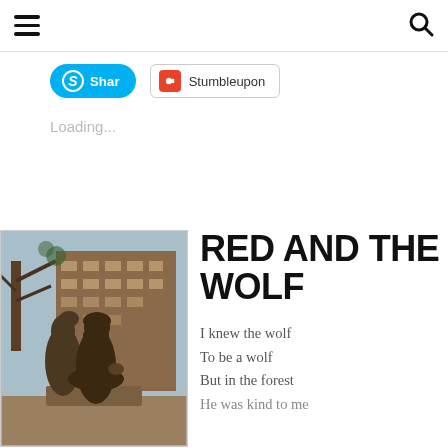≡  [hamburger menu]   [search icon]
Shar  Stumbleupon
Loading...
[Figure (photo): Bronze statue of a girl (Red Riding Hood) and a wolf figure in an urban outdoor setting with trees and a brick building in the background.]
RED AND THE WOLF
I knew the wolf
To be a wolf
But in the forest
He was kind to me